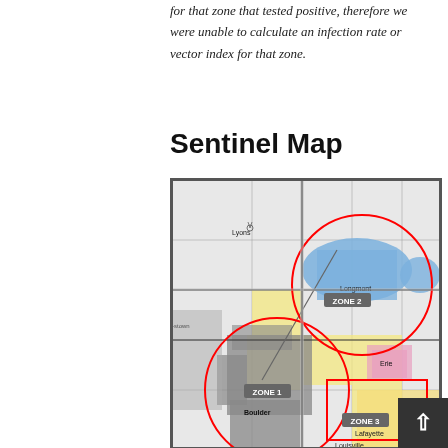for that zone that tested positive, therefore we were unable to calculate an infection rate or vector index for that zone.
Sentinel Map
[Figure (map): Sentinel map showing Boulder County area divided into three zones (Zone 1, Zone 2, Zone 3) with red circle overlays indicating monitoring zones. Cities labeled include Lyons, Longmont, Boulder, Erie, Lafayette, Louisville. Areas colored in blue, yellow, pink, and dark gray indicating different land use or mosquito activity levels.]